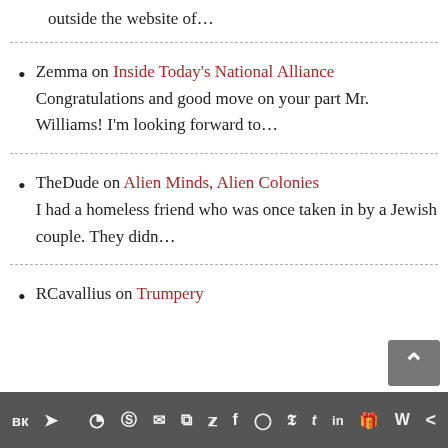outside the website of…
Zemma on Inside Today's National Alliance
Congratulations and good move on your part Mr. Williams! I'm looking forward to…
TheDude on Alien Minds, Alien Colonies
I had a homeless friend who was once taken in by a Jewish couple. They didn…
RCavallius on Trumpery
вк 📨 reddit WordPress WhatsApp mail layers twitter facebook instagram pinterest tumblr linkedin gift W share